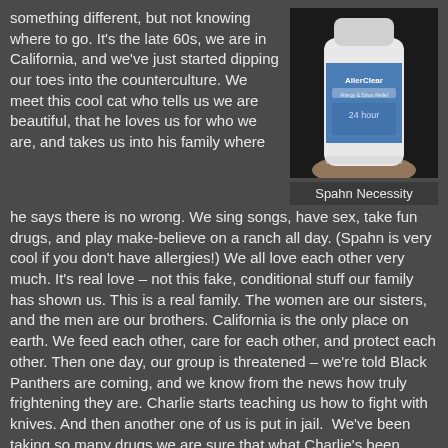something different, but not knowing where to go. It's the late 60s, we are in California, and we've just started dipping our toes into the counterculture. We meet this cool cat who tells us we are beautiful, that he loves us for who we are, and takes us into his family where
[Figure (photo): A hand holding a bottle of AllerClear allergy medication against a dark background.]
Spahn Necessity
he says there is no wrong. We sing songs, have sex, take fun drugs, and play make-believe on a ranch all day. (Spahn is very cool if you don't have allergies!) We all love each other very much. It's real love – not this fake, conditional stuff our family has shown us. This is a real family. The women are our sisters, and the men are our brothers. California is the only place on earth. We feed each other, care for each other, and protect each other. Then one day, our group is threatened – we're told Black Panthers are coming, and we know from the news how truly frightening they are. Charlie starts teaching us how to fight with knives. And then another one of us is put in jail.  We've been taking so many drugs we are sure that what Charlie's been saying all this time about war is starting to happen. He asks us repeatedly if we would do anything for the family. We all say yes because we are